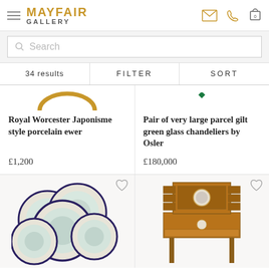MAYFAIR GALLERY
Search
34 results   FILTER   SORT
Royal Worcester Japonisme style porcelain ewer
Pair of very large parcel gilt green glass chandeliers by Osler
£1,200
£180,000
[Figure (photo): Partial view of a gold ring at top of product card]
[Figure (photo): Partial view of a green gem at top of product card]
[Figure (photo): Set of decorative plates with bird motifs, dark blue borders]
[Figure (photo): Ornate wooden writing desk with marquetry and porcelain medallion]